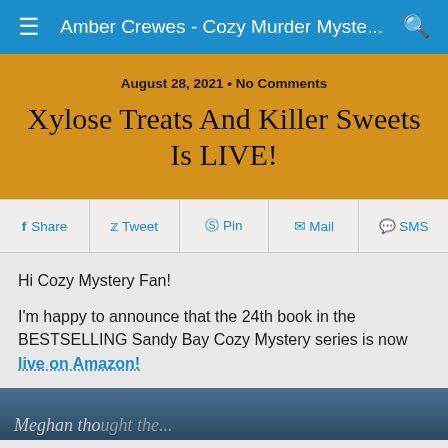Amber Crewes - Cozy Murder Myste...
August 28, 2021 • No Comments
Xylose Treats And Killer Sweets Is LIVE!
Share  Tweet  Pin  Mail  SMS
Hi Cozy Mystery Fan!
I'm happy to announce that the 24th book in the BESTSELLING Sandy Bay Cozy Mystery series is now live on Amazon!
[Figure (photo): Partial view of a book cover with text partially visible at the bottom]